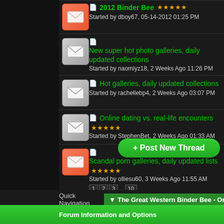2012 Binder Bee — Started by dboy67, 05-14-2012 01:25 PM
New super hot photo galleries, daily updated collections — Started by naomiyz18, 2 Weeks Ago 11:26 PM
Hot galleries, daily updated collections — Started by rachellebp4, 2 Weeks Ago 03:07 PM
Online dating vs. real-life encounters — Started by StephenBet, 2 Weeks Ago 01:33 AM
Scandal porn galleries, daily updated lists — Started by olliesu60, 3 Weeks Ago 11:55 AM — Pages: 1 2 3 ... 10
+ Post New Thread
Quick Navigation — The Great Western Binder Bee - Oregon
Forum Information and Options